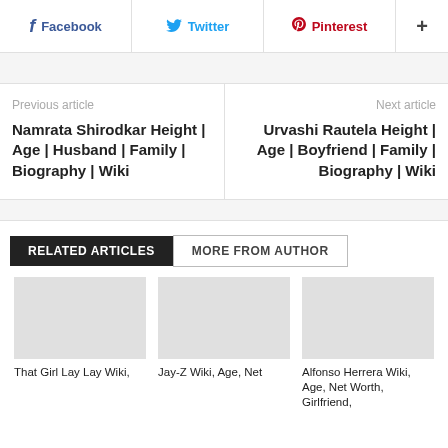[Figure (infographic): Social share buttons row: Facebook (blue), Twitter (cyan), Pinterest (red), and a plus/more button]
Previous article
Namrata Shirodkar Height | Age | Husband | Family | Biography | Wiki
Next article
Urvashi Rautela Height | Age | Boyfriend | Family | Biography | Wiki
RELATED ARTICLES
MORE FROM AUTHOR
That Girl Lay Lay Wiki,
Jay-Z Wiki, Age, Net
Alfonso Herrera Wiki, Age, Net Worth, Girlfriend,